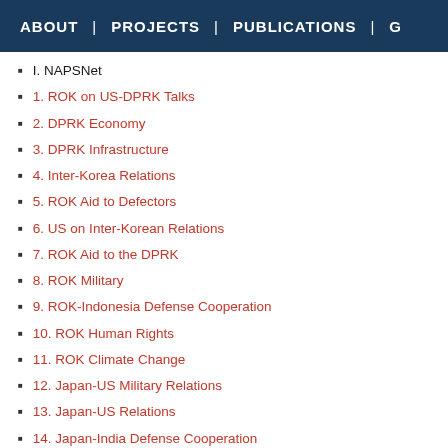ABOUT | PROJECTS | PUBLICATIONS | G
I. NAPSNet
1. ROK on US-DPRK Talks
2. DPRK Economy
3. DPRK Infrastructure
4. Inter-Korea Relations
5. ROK Aid to Defectors
6. US on Inter-Korean Relations
7. ROK Aid to the DPRK
8. ROK Military
9. ROK-Indonesia Defense Cooperation
10. ROK Human Rights
11. ROK Climate Change
12. Japan-US Military Relations
13. Japan-US Relations
14. Japan-India Defense Cooperation
15. Japan Climate Change